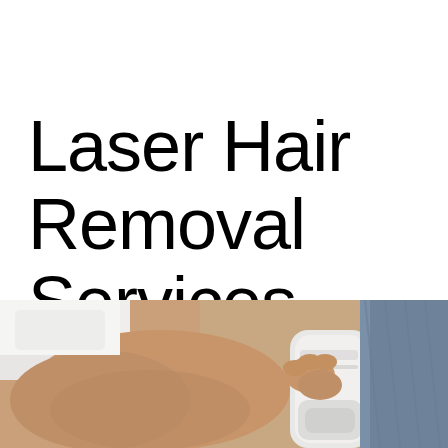Laser Hair Removal Services
[Figure (photo): A person receiving laser hair removal treatment on their leg, with a white laser handpiece device visible and denim fabric in the background.]